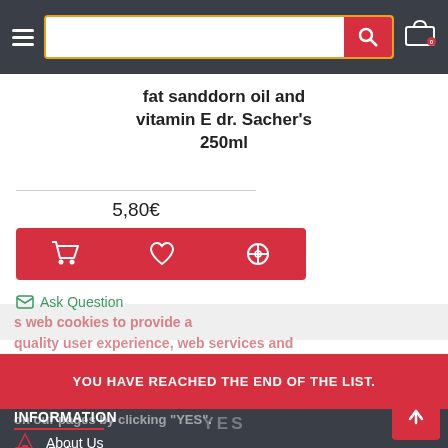Header navigation bar with hamburger menu, search box, and cart icon (0 items)
fat sanddorn oil and vitamin E dr. Sacher's 250ml
5,80€
[Figure (other): Red action button row with cart, heart/wishlist, and compare icons]
Ask Question
s web cookies to provide a quality user experience, web services and functionalities that are essential for understanding consumer habits. Please confirm your consent to the use of cookies on our pages by clicking "YES".
YOU HAVE REACHED THE END OF THE LIST.
INFORMATION
About Us
Delivery
YES